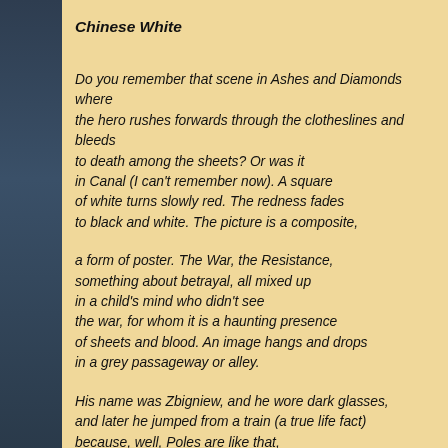Chinese White
Do you remember that scene in Ashes and Diamonds where the hero rushes forwards through the clotheslines and bleeds to death among the sheets? Or was it in Canal (I can't remember now). A square of white turns slowly red. The redness fades to black and white. The picture is a composite,
a form of poster. The War, the Resistance, something about betrayal, all mixed up in a child's mind who didn't see the war, for whom it is a haunting presence of sheets and blood. An image hangs and drops in a grey passageway or alley.
His name was Zbigniew, and he wore dark glasses, and later he jumped from a train (a true life fact) because, well, Poles are like that, they get drunk, morose, etcetera. The girl who kisses the boy was blonde as always. Was it an act